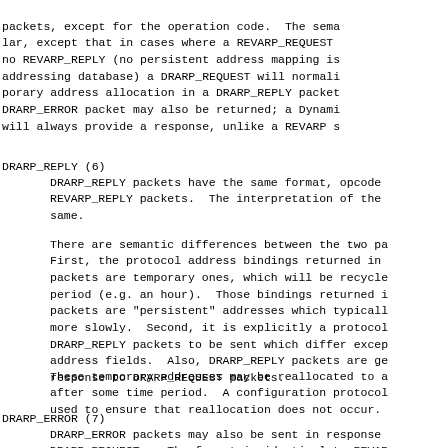packets, except for the operation code.  The sema
lar, except that in cases where a REVARP_REQUEST
no REVARP_REPLY (no persistent address mapping is
addressing database) a DRARP_REQUEST will normali
porary address allocation in a DRARP_REPLY packet
DRARP_ERROR packet may also be returned; a Dynami
will always provide a response, unlike a REVARP s
DRARP_REPLY (6)
DRARP_REPLY packets have the same format, opcode
REVARP_REPLY packets.  The interpretation of the
same.
There are semantic differences between the two pa
First, the protocol address bindings returned in
packets are temporary ones, which will be recycle
period (e.g. an hour).  Those bindings returned i
packets are "persistent" addresses which typicall
more slowly.  Second, it is explicitly a protocol
DRARP_REPLY packets to be sent which differ excep
address fields.  Also, DRARP_REPLY packets are ge
response to DRARP_REQUEST packets.
These temporary addresses may be reallocated to a
after some time period.  A configuration protocol
used to ensure that reallocation does not occur.
DRARP_ERROR (7)
DRARP_ERROR packets may also be sent in response
DRARP REQUESTs.  The format is identical to REVAR